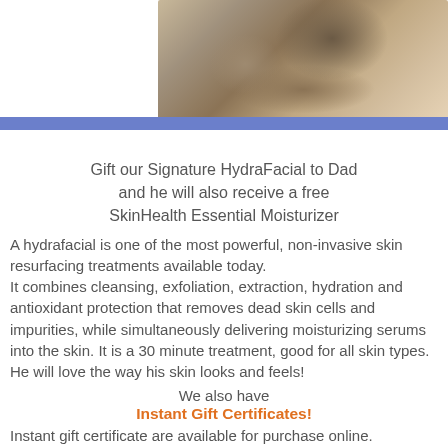[Figure (photo): Close-up photo of a man's face with beard stubble, showing skin texture, on white background with blue banner below]
Gift our Signature HydraFacial to Dad
and he will also receive a free
SkinHealth Essential Moisturizer
A hydrafacial is one of the most powerful, non-invasive skin resurfacing treatments available today.
It combines cleansing, exfoliation, extraction, hydration and antioxidant protection that removes dead skin cells and impurities, while simultaneously delivering moisturizing serums into the skin. It is a 30 minute treatment, good for all skin types.
He will love the way his skin looks and feels!
We also have
Instant Gift Certificates!
Instant gift certificate are available for purchase online.